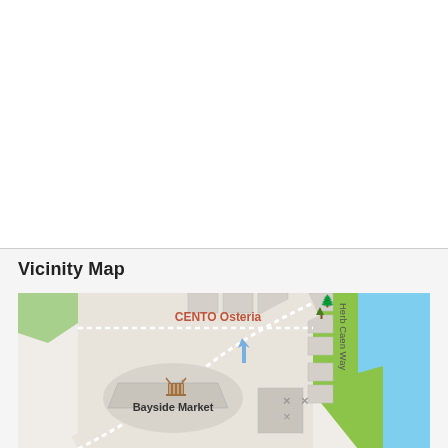Vicinity Map
[Figure (map): Street map showing vicinity including CENTO Osteria, Bayside Market, Herb Caen Way, with streets, building footprints, green areas, and blue water body (San Francisco Bay area).]